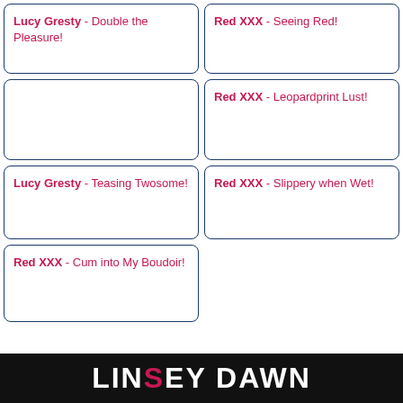Lucy Gresty - Double the Pleasure!
Red XXX - Seeing Red!
Red XXX - Leopardprint Lust!
Lucy Gresty - Teasing Twosome!
Red XXX - Slippery when Wet!
Red XXX - Cum into My Boudoir!
[Figure (photo): Banner image with text LINSEY DAWN and a woman's face partially visible]